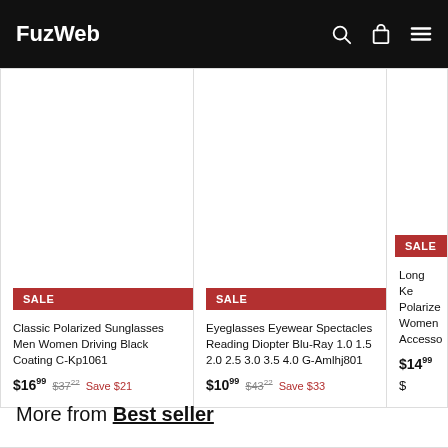FuzWeb
[Figure (other): Product card image area - Classic Polarized Sunglasses (blank white)]
SALE
Classic Polarized Sunglasses Men Women Driving Black Coating C-Kp1061
$16.99  $37.22  Save $21
[Figure (other): Product card image area - Eyeglasses Eyewear Spectacles (blank white)]
SALE
Eyeglasses Eyewear Spectacles Reading Diopter Blu-Ray 1.0 1.5 2.0 2.5 3.0 3.5 4.0 G-Amlhj801
$10.99  $43.22  Save $33
[Figure (other): Product card image area - Long Ke Polarized Women Accesso (partial, blank white)]
SALE
Long Ke Polarized Women Accesso
$14.99  $...
More from Best seller